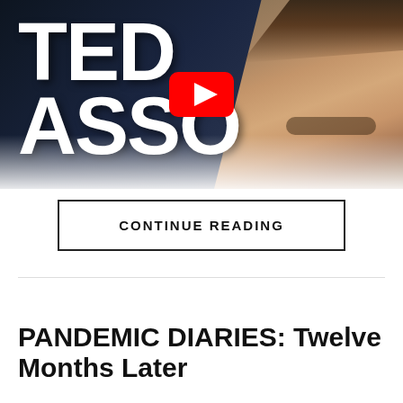[Figure (screenshot): Ted Lasso video thumbnail with large white text 'TED ASSO' on dark background, a man's face on the right side, and a YouTube play button in the center]
CONTINUE READING
CULTURE
PANDEMIC DIARIES: Twelve Months Later